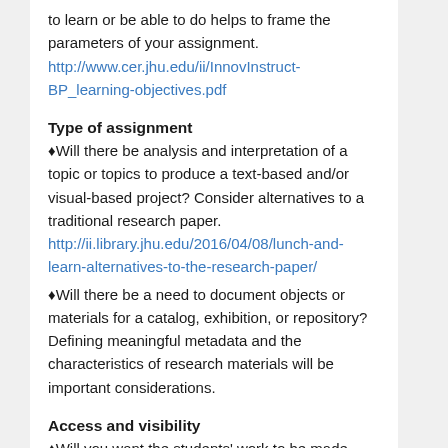to learn or be able to do helps to frame the parameters of your assignment. http://www.cer.jhu.edu/ii/InnovInstruct-BP_learning-objectives.pdf
Type of assignment
♦Will there be analysis and interpretation of a topic or topics to produce a text-based and/or visual-based project? Consider alternatives to a traditional research paper. http://ii.library.jhu.edu/2016/04/08/lunch-and-learn-alternatives-to-the-research-paper/
♦Will there be a need to document objects or materials for a catalog, exhibition, or repository? Defining meaningful metadata and the characteristics of research materials will be important considerations.
Access and visibility
♦Will you want the students' work to be made open to the public, seen just at JHU, or shared only with the class? Decide up front whether to have students' work be public or private in order to get their consent and choose